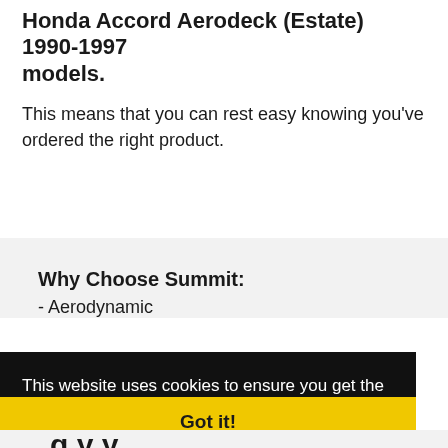Honda Accord Aerodeck (Estate) 1990-1997 models.
This means that you can rest easy knowing you've ordered the right product.
Why Choose Summit:
- Aerodynamic
This website uses cookies to ensure you get the best experience on our website.
Learn more
Got it!